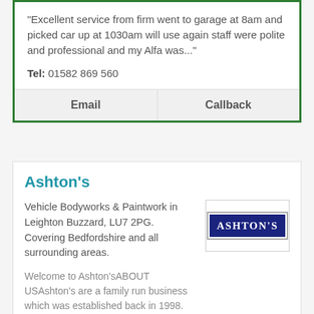"Excellent service from firm went to garage at 8am and picked car up at 1030am will use again staff were polite and professional and my Alfa was..."
Tel: 01582 869 560
Email
Callback
Ashton's
Vehicle Bodyworks & Paintwork in Leighton Buzzard, LU7 2PG. Covering Bedfordshire and all surrounding areas.
[Figure (logo): Ashton's logo: dark navy blue rectangle with white bold serif text reading ASHTON'S]
Welcome to Ashton'sABOUT USAshton's are a family run business which was established back in 1998. After training, qualifying and many years...